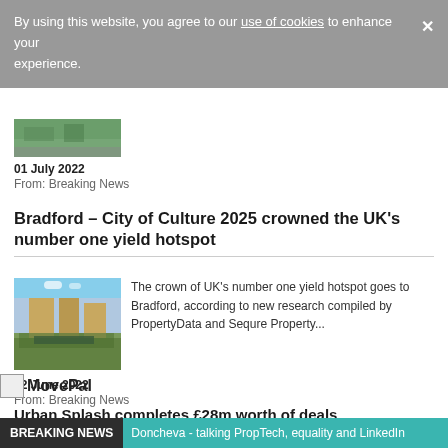By using this website, you agree to our use of cookies to enhance your experience.
[Figure (photo): Partial thumbnail of article image at top]
01 July 2022
From: Breaking News
Bradford – City of Culture 2025 crowned the UK's number one yield hotspot
[Figure (photo): Photo of Bradford canal area with stone buildings and blue sky]
The crown of UK's number one yield hotspot goes to Bradford, according to new research compiled by PropertyData and Sequre Property...
22 June 2022
From: Breaking News
[Figure (logo): MovePal logo]
Urban Splash completes £28m worth of deals
BREAKING NEWS   Doncheva - talking PropTech, equality and LinkedIn